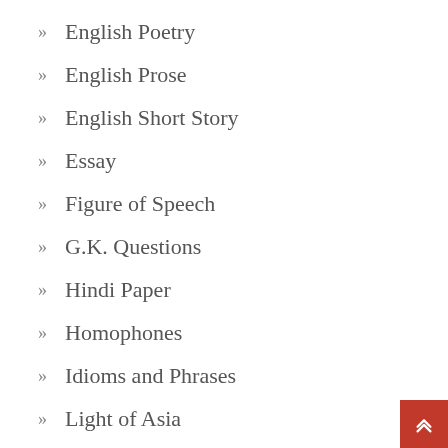» English Poetry
» English Prose
» English Short Story
» Essay
» Figure of Speech
» G.K. Questions
» Hindi Paper
» Homophones
» Idioms and Phrases
» Light of Asia